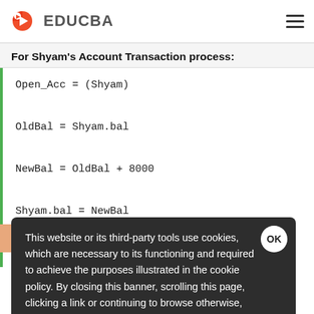EDUCBA
For Shyam's Account Transaction process:
This website or its third-party tools use cookies, which are necessary to its functioning and required to achieve the purposes illustrated in the cookie policy. By closing this banner, scrolling this page, clicking a link or continuing to browse otherwise, you agree to our Privacy Policy.